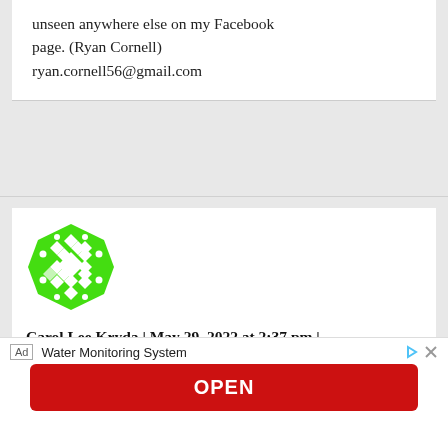unseen anywhere else on my Facebook page. (Ryan Cornell)
ryan.cornell56@gmail.com
[Figure (illustration): Green geometric avatar icon for user Carol Lee Kryda]
Carol Lee Kryda | May 29, 2022 at 2:37 pm | Reply
Omitting Stanford University Nobel Laser/Maser inventor, Charles Townes' dis...